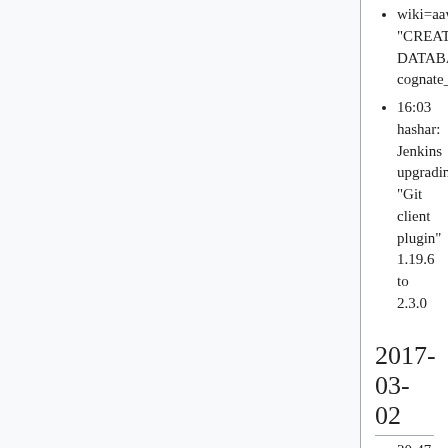wiki=aawiki "CREATE DATABASE cognate_wiktionary"
16:03 hashar: Jenkins upgrading "Git client plugin" 1.19.6 to 2.3.0
2017-03-02
20:47 hashar: deployment-prep: restarted apache/puppet master. Maybe that will fix ssh_known_hosts being emptied from time to time T159332
19:32 thcipriani: snapshot-ci-jessie updated for nodepool
19:15 thcipriani: running: nodepool image-update wmflabs-eqiad snapshot-ci-jessie to manually update the ci-jessie snapshot for nodepool
18:26 godog: integration update composer on '*slave*'